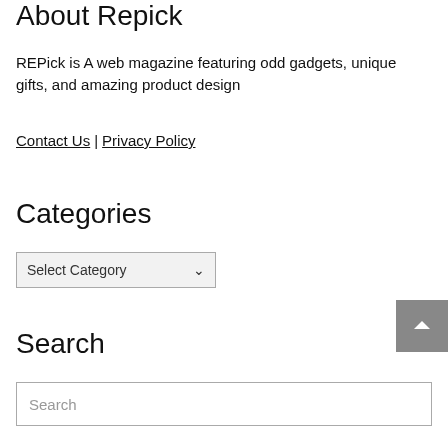About Repick
REPick is A web magazine featuring odd gadgets, unique gifts, and amazing product design
Contact Us | Privacy Policy
Categories
[Figure (other): A dropdown select box labeled 'Select Category' with a chevron arrow]
[Figure (other): Back to top button with upward chevron arrow, gray background]
Search
[Figure (other): Search input box with placeholder text 'Search']